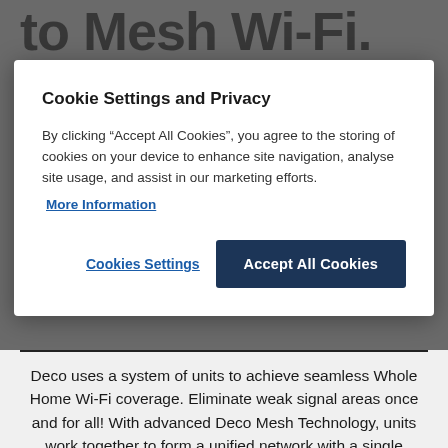[Figure (screenshot): Background image partially visible behind modal, showing large bold text 'to Mesh Wi-Fi.' partially visible at top, with product imagery (teal and yellow items) on sides, overlaid with gray semi-transparent backdrop]
Cookie Settings and Privacy
By clicking “Accept All Cookies”, you agree to the storing of cookies on your device to enhance site navigation, analyse site usage, and assist in our marketing efforts.
More Information
Cookies Settings
Accept All Cookies
Deco uses a system of units to achieve seamless Whole Home Wi-Fi coverage. Eliminate weak signal areas once and for all! With advanced Deco Mesh Technology, units work together to form a unified network with a single network name. Devices automatically switch between Decos as you move through your